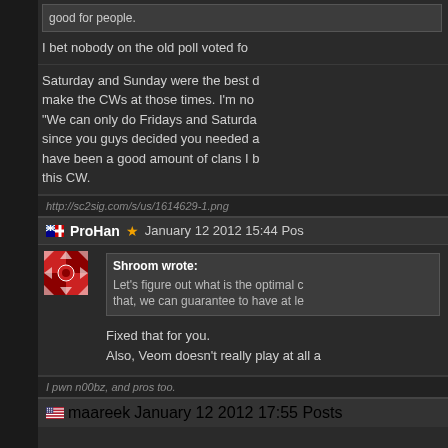good for people.
I bet nobody on the old poll voted fo
Saturday and Sunday were the best d make the CWs at those times. I'm no "We can only do Fridays and Saturda since you guys decided you needed a have been a good amount of clans I b this CW.
http://sc2sig.com/s/us/1614629-1.png
ProHan  January 12 2012 15:44 Pos
Shroom wrote:
Let's figure out what is the optimal c that, we can guarantee to have at le
Fixed that for you.
Also, Veom doesn't really play at all a
I pwn n00bz, and pros too.
maareek  January 12 2012 17:55 Posts